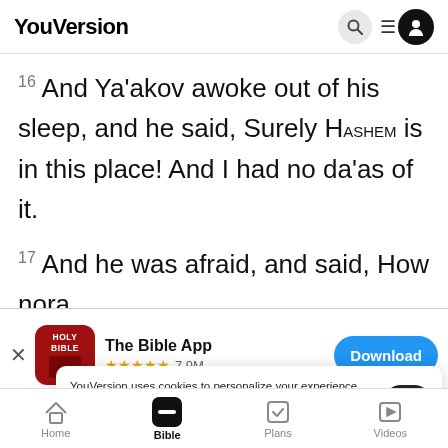YouVersion
16 And Ya'akov awoke out of his sleep, and he said, Surely HaShem is in this place! And I had no da'as of it.
17 And he was afraid, and said, How nora
[Figure (screenshot): App install banner for The Bible App with icon, 5-star rating 7.9M reviews, and Download button]
omayim
18 An...took ha (the stone) that he had put for his
YouVersion uses cookies to personalize your experience. By using our website, you accept our use of cookies as described in our Privacy Policy.
Home  Bible  Plans  Videos